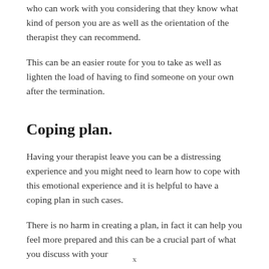who can work with you considering that they know what kind of person you are as well as the orientation of the therapist they can recommend.
This can be an easier route for you to take as well as lighten the load of having to find someone on your own after the termination.
Coping plan.
Having your therapist leave you can be a distressing experience and you might need to learn how to cope with this emotional experience and it is helpful to have a coping plan in such cases.
There is no harm in creating a plan, in fact it can help you feel more prepared and this can be a crucial part of what you discuss with your
x